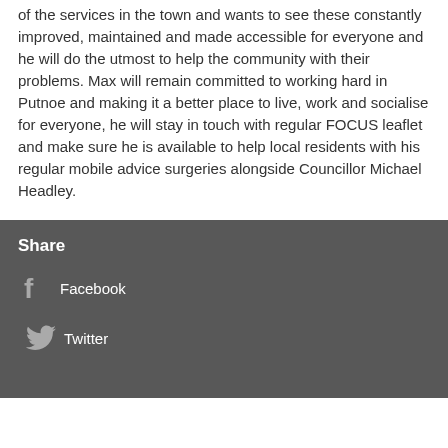of the services in the town and wants to see these constantly improved, maintained and made accessible for everyone and he will do the utmost to help the community with their problems. Max will remain committed to working hard in Putnoe and making it a better place to live, work and socialise for everyone, he will stay in touch with regular FOCUS leaflet and make sure he is available to help local residents with his regular mobile advice surgeries alongside Councillor Michael Headley.
Share
Facebook
Twitter